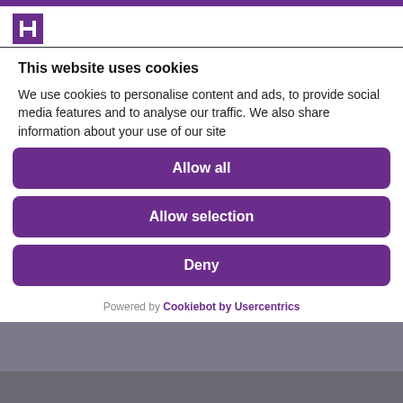[Figure (screenshot): Purple top navigation bar of a website]
[Figure (logo): Purple square logo with white H-like building icon]
This website uses cookies
We use cookies to personalise content and ads, to provide social media features and to analyse our traffic. We also share information about your use of our site
Allow all
Allow selection
Deny
Powered by Cookiebot by Usercentrics